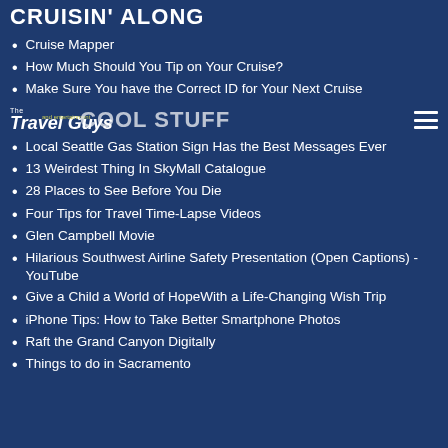CRUISIN' ALONG
Cruise Mapper
How Much Should You Tip on Your Cruise?
Make Sure You have the Correct ID for Your Next Cruise
The Travel Guys and entertainment
COOL STUFF
Local Seattle Gas Station Sign Has the Best Messages Ever
13 Weirdest Thing In SkyMall Catalogue
28 Places to See Before You Die
Four Tips for Travel Time-Lapse Videos
Glen Campbell Movie
Hilarious Southwest Airline Safety Presentation (Open Captions) - YouTube
Give a Child a World of HopeWith a Life-Changing Wish Trip
iPhone Tips: How to Take Better Smartphone Photos
Raft the Grand Canyon Digitally
Things to do in Sacramento